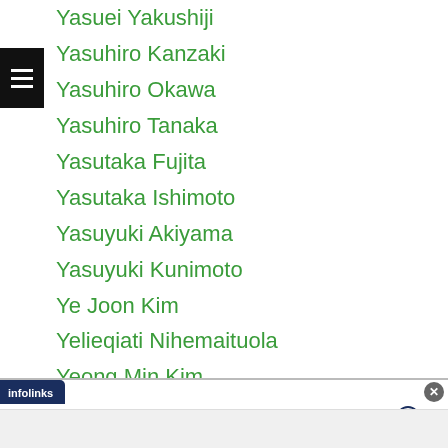Yasuei Yakushiji
Yasuhiro Kanzaki
Yasuhiro Okawa
Yasuhiro Tanaka
Yasutaka Fujita
Yasutaka Ishimoto
Yasuyuki Akiyama
Yasuyuki Kunimoto
Ye Joon Kim
Yelieqiati Nihemaituola
Yeong Min Kim
Yerzhan Zalilov
Yevgeniy Pavlov
Yi Hung Chiang
Yodmongkol Vor Saengthep
Yodtanong Chaepet
[Figure (screenshot): Advertisement banner: Tally app - Fast credit card payoff, with Download Now button, infolinks label, close and help buttons]